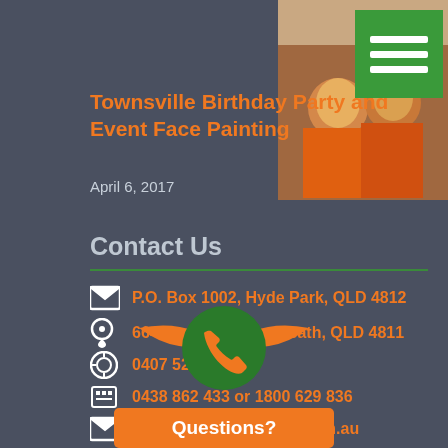[Figure (photo): Top right corner photos of face painting event with two people in orange jackets]
[Figure (other): Green hamburger menu button overlay]
Townsville Birthday Party and Event Face Painting
April 6, 2017
Contact Us
P.O. Box 1002, Hyde Park, QLD 4812
664 Stuart Dr, Roseneath, QLD 4811
0407 529 831
0438 862 433 or 1800 629 836
info@qldamusements.com.au
[Figure (logo): Orange wings with green circle containing orange telephone handset icon]
Questions?